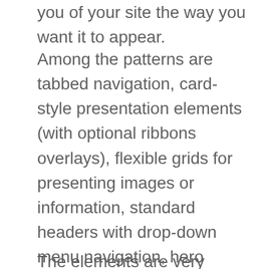you of your site the way you want it to appear.
Among the patterns are tabbed navigation, card-style presentation elements (with optional ribbons overlays), flexible grids for presenting images or information, standard headers with drop-down menu navigation, hero boxes, different footer styles, styled tables, a Google Maps widget, along with several others. You can drop any of them right into an unstyled site to make it look clean and orderly with little or no visual design in advance, and get an acceptable minimalist result to build upon.
The elements are very basic, but that leaves you